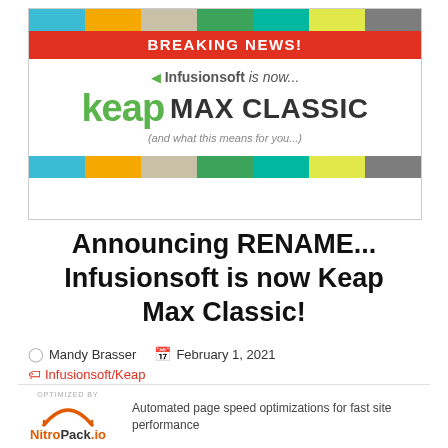[Figure (infographic): Breaking News banner: Infusionsoft is now Keap Max Classic, with colorful stripe borders top and bottom, red breaking news bar, and italic subtitle '(and what this means for you...)']
Announcing RENAME... Infusionsoft is now Keap Max Classic!
Mandy Brasser  February 1, 2021
Infusionsoft/Keap
[Figure (logo): Optimized by NitroPack.io logo with arc graphic]
Automated page speed optimizations for fast site performance